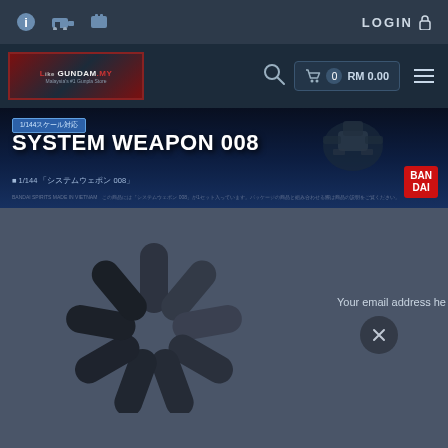Navigation bar with LOGIN link and icons
[Figure (screenshot): Gundam.my website screenshot showing logo, cart (RM 0.00), and menu]
[Figure (photo): Banner for System Weapon 008, 1/144 scale, Bandai product]
[Figure (other): Loading spinner animation with email input area partially visible]
Your email address he